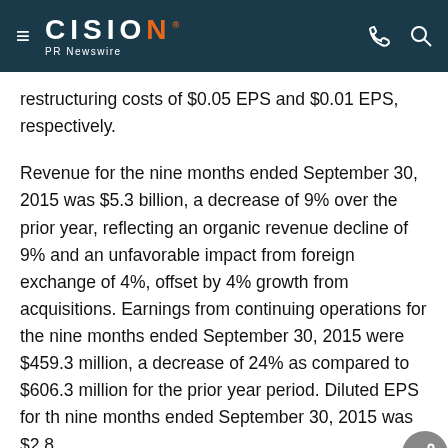CISION PR Newswire
restructuring costs of $0.05 EPS and $0.01 EPS, respectively.
Revenue for the nine months ended September 30, 2015 was $5.3 billion, a decrease of 9% over the prior year, reflecting an organic revenue decline of 9% and an unfavorable impact from foreign exchange of 4%, offset by 4% growth from acquisitions. Earnings from continuing operations for the nine months ended September 30, 2015 were $459.3 million, a decrease of 24% as compared to $606.3 million for the prior year period. Diluted EPS for the nine months ended September 30, 2015 was $2.8...